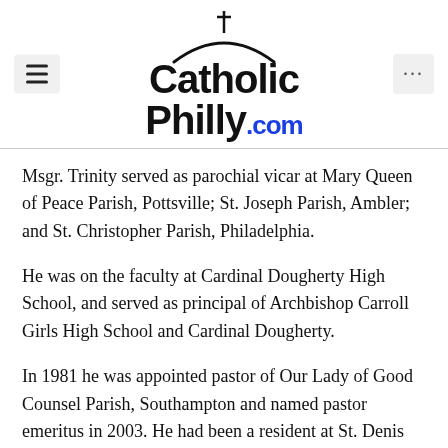CatholicPhilly.com
Msgr. Trinity served as parochial vicar at Mary Queen of Peace Parish, Pottsville; St. Joseph Parish, Ambler; and St. Christopher Parish, Philadelphia.
He was on the faculty at Cardinal Dougherty High School, and served as principal of Archbishop Carroll Girls High School and Cardinal Dougherty.
In 1981 he was appointed pastor of Our Lady of Good Counsel Parish, Southampton and named pastor emeritus in 2003. He had been a resident at St. Denis Parish, Havertown until the time of his death.
St. Denis Church will host the Reception of the Body on